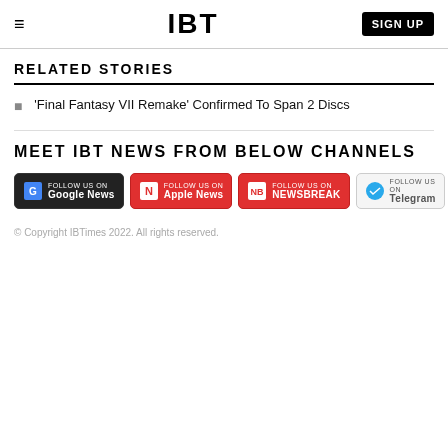IBT  SIGN UP
RELATED STORIES
'Final Fantasy VII Remake' Confirmed To Span 2 Discs
MEET IBT NEWS FROM BELOW CHANNELS
[Figure (infographic): Four social channel follow buttons: Google News (black), Apple News (red), NewsBreak (red), Telegram (light grey)]
© Copyright IBTimes 2022. All rights reserved.